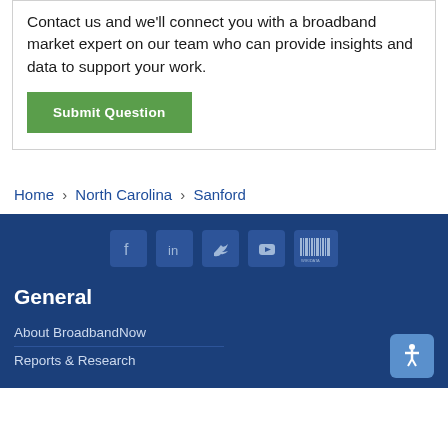Contact us and we'll connect you with a broadband market expert on our team who can provide insights and data to support your work.
Submit Question
Home › North Carolina › Sanford
[Figure (other): Social media icons: Facebook, LinkedIn, Twitter, YouTube, Wikidata]
General
About BroadbandNow
Reports & Research